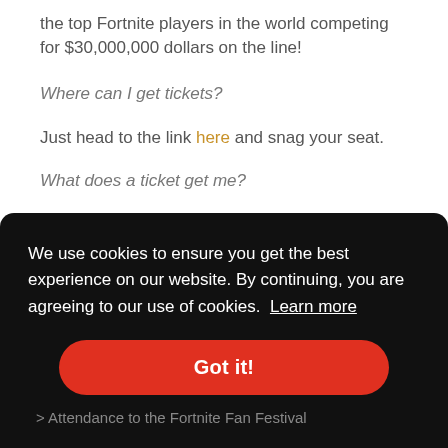the top Fortnite players in the world competing for $30,000,000 dollars on the line!
Where can I get tickets?
Just head to the link here and snag your seat.
What does a ticket get me?
> All ticketed fans who attend the three day
We use cookies to ensure you get the best experience on our website. By continuing, you are agreeing to our use of cookies. Learn more
Got it!
> Attendance to the Fortnite Fan Festival